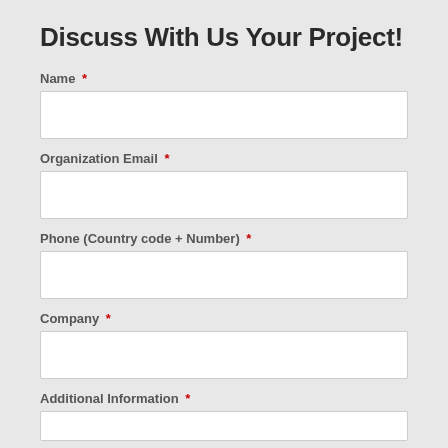Discuss With Us Your Project!
Name *
Organization Email *
Phone (Country code + Number) *
Company *
Additional Information *